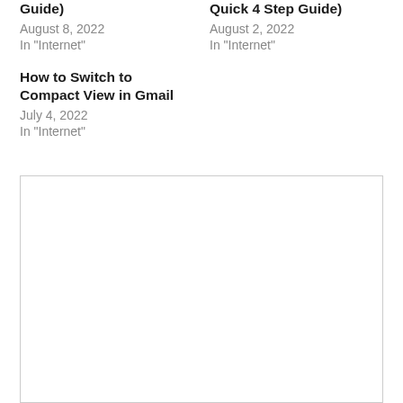Guide)
August 8, 2022
In "Internet"
Quick 4 Step Guide)
August 2, 2022
In "Internet"
How to Switch to Compact View in Gmail
July 4, 2022
In "Internet"
[Figure (other): Empty white box with border, likely an advertisement or placeholder image area]